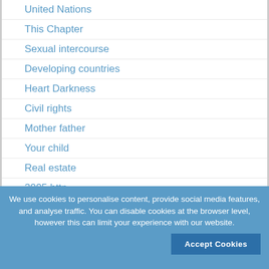United Nations
This Chapter
Sexual intercourse
Developing countries
Heart Darkness
Civil rights
Mother father
Your child
Real estate
2005 http
Learning process
Working class
We use cookies to personalise content, provide social media features, and analyse traffic. You can disable cookies at the browser level, however this can limit your experience with our website.
Accept Cookies